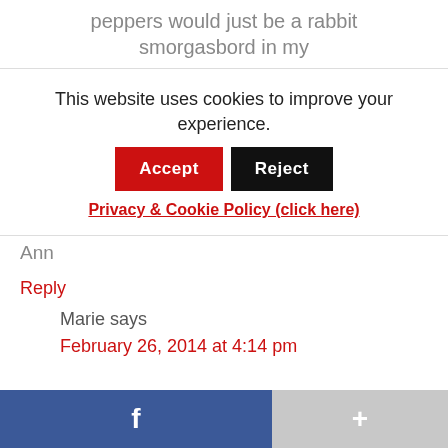peppers would just be a rabbit smorgasbord in my
This website uses cookies to improve your experience.
Accept
Reject
Privacy & Cookie Policy (click here)
Ann
Reply
Marie says
February 26, 2014 at 4:14 pm
f
+